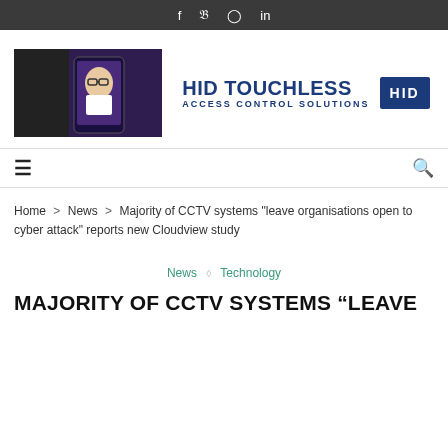f  𝐭  ⓘ  in
[Figure (illustration): HID Touchless Access Control Solutions advertisement banner with a photo of a smiling man with glasses holding a phone, and text HID TOUCHLESS ACCESS CONTROL SOLUTIONS with HID logo box]
☰   🔍
Home > News > Majority of CCTV systems "leave organisations open to cyber attack" reports new Cloudview study
News ◇ Technology
MAJORITY OF CCTV SYSTEMS “LEAVE